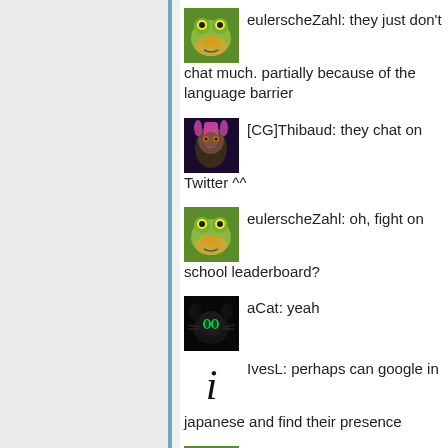eulerscheZahl: they just don't chat much. partially because of the language barrier
[CG]Thibaud: they chat on Twitter ^^
eulerscheZahl: oh, fight on school leaderboard?
aCat: yeah
IvesL: perhaps can google in japanese and find their presence
eulerscheZahl: and post long